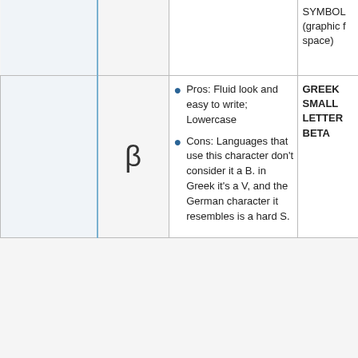|  |  | Pros/Cons | Name |
| --- | --- | --- | --- |
|  |  |  | SYMBOL (graphic f space) |
|  | β | Pros: Fluid look and easy to write; Lowercase
Cons: Languages that use this character don't consider it a B. in Greek it's a V, and the German character it resembles is a hard S. | GREEK SMALL LETTER BETA |